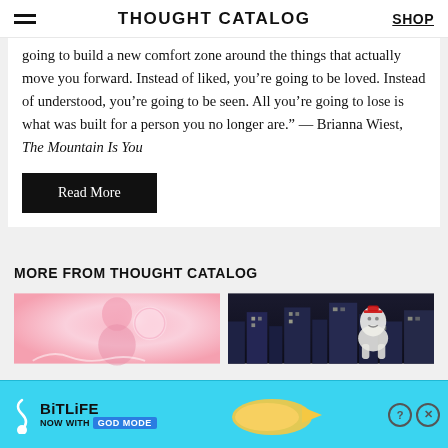THOUGHT CATALOG  SHOP
going to build a new comfort zone around the things that actually move you forward. Instead of liked, you’re going to be loved. Instead of understood, you’re going to be seen. All you’re going to lose is what was built for a person you no longer are.” — Brianna Wiest, The Mountain Is You
Read More
MORE FROM THOUGHT CATALOG
[Figure (photo): Soft pink illustration of a person with light hair blowing a bubble or kissing the air, on a gradient pink-peach background]
[Figure (photo): Dark nighttime city scene with a ghostly white inflatable Staypuft Marshmallow Man figure visible among buildings]
[Figure (screenshot): BitLife advertisement banner: blue background with squiggle, white dot, BitLife logo text, NOW WITH GOD MODE text in blue button, yellow hand pointing, question mark and X close buttons]